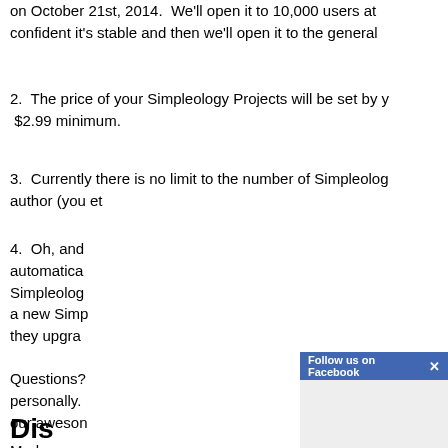on October 21st, 2014.  We'll open it to 10,000 users at [confident it's stable and then we'll open it to the general
2.  The price of your Simpleology Projects will be set by y $2.99 minimum.
3.  Currently there is no limit to the number of Simpleolog author (you [et
4.  Oh, and [no automatica [u Simpleolog [ote a new Simp [n they upgra
[Figure (screenshot): Facebook 'Follow us on Facebook' overlay popup bar with blue header and gray panel]
Questions? [w personally. [as our aweson
Mark
Dis